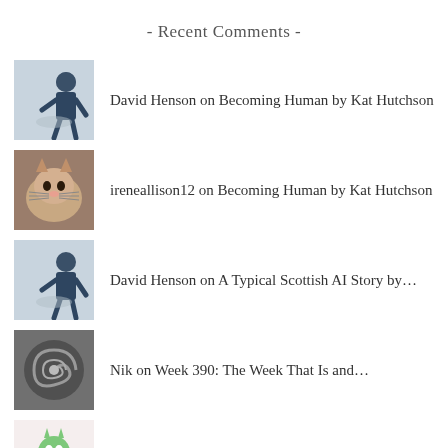- Recent Comments -
David Henson on Becoming Human by Kat Hutchson
ireneallison12 on Becoming Human by Kat Hutchson
David Henson on A Typical Scottish AI Story by…
Nik on Week 390: The Week That Is and…
paulkimm on A Typical Scottish AI Story by…
paulkimm on Space Opera by Doug Hawley
ireneallison12 on A Typical Scottish AI Story by…